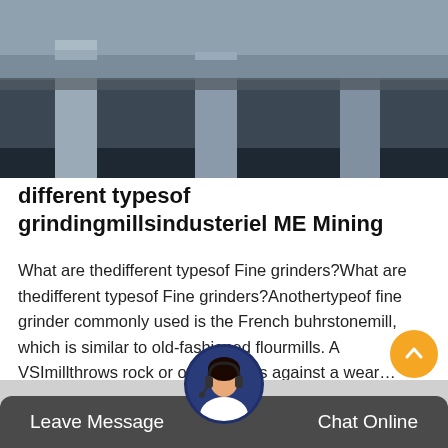[Figure (photo): Dark industrial interior photograph showing concrete pillars and ceiling of a large structure or mine]
different typesof grindingmillsindusteriel ME Mining
What are thedifferent typesof Fine grinders?What are thedifferent typesof Fine grinders?Anothertypeof fine grinder commonly used is the French buhrstonemill, which is similar to old-fashioned flourmills. A VSImillthrows rock or ore particles against a wear…
Get Price
Leave Message
Chat Online